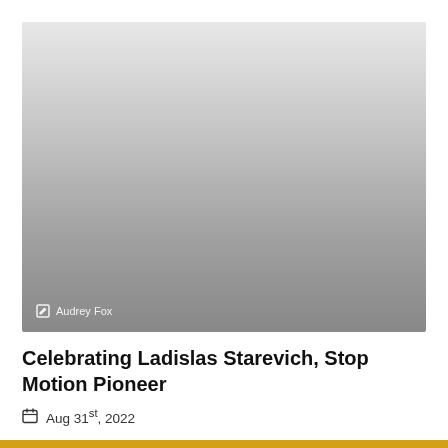[Figure (photo): A photograph with a gray gradient overlay. In the bottom-left corner, a white edit/pencil icon and the text 'Audrey Fox' appear as an image credit.]
Celebrating Ladislas Starevich, Stop Motion Pioneer
Aug 31st, 2022